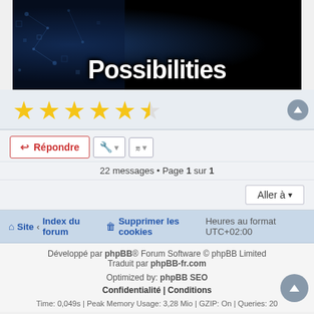[Figure (illustration): Dark banner with large white bold text reading 'Possibilities' on a dark background with blue circuit board pattern on the left side]
[Figure (other): Star rating showing 5 and a half stars (approximately 5.5 out of 6), gold stars on light blue-grey background]
Répondre | tool icon | sort icon
22 messages • Page 1 sur 1
Aller à
Site ‹ Index du forum   Supprimer les cookies  Heures au format UTC+02:00
Développé par phpBB® Forum Software © phpBB Limited
Traduit par phpBB-fr.com
Optimized by: phpBB SEO
Confidentialité | Conditions
Time: 0,049s | Peak Memory Usage: 3,28 Mio | GZIP: On | Queries: 20